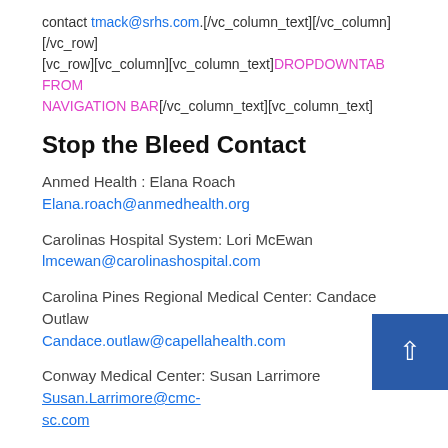contact tmack@srhs.com.[/vc_column_text][/vc_column][/vc_row][vc_row][vc_column][vc_column_text]DROPDOWNTAB FROM NAVIGATION BAR[/vc_column_text][vc_column_text]
Stop the Bleed Contact
Anmed Health : Elana Roach Elana.roach@anmedhealth.org
Carolinas Hospital System: Lori McEwan lmcewan@carolinashospital.com
Carolina Pines Regional Medical Center: Candace Outlaw Candace.outlaw@capellahealth.com
Conway Medical Center: Susan Larrimore Susan.Larrimore@cmc-sc.com
East Cooper Medical Center: Brook Mizner brook.mizner@tenehealth.com
[Figure (other): Blue scroll-to-top button with white arrow]
Grand Strand Medical Center: Laura Lunsford Laura.Lunsford@hcahealthcare.com